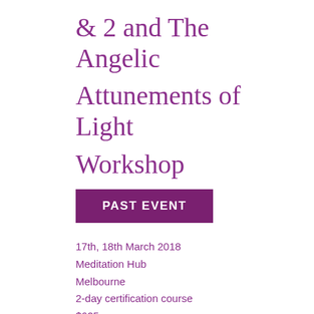& 2 and The Angelic Attunements of Light Workshop
PAST EVENT
17th, 18th March 2018
Meditation Hub
Melbourne
2-day certification course
$625